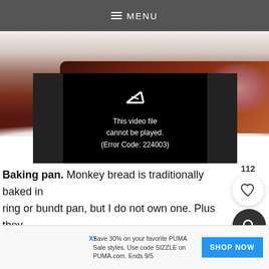≡ MENU
[Figure (photo): Close-up photo of dark chocolate monkey bread in a white baking dish with pink/berry toppings]
[Figure (screenshot): Video player showing error: This video file cannot be played. (Error Code: 224003)]
Baking pan. Monkey bread is traditionally baked in a ring or bundt pan, but I do not own one. Plus they tend to be humongous and you would need practically an entire date farm of your own just to make enough batter to fill it, but a loaf pan and it...
112
[Figure (other): Favorite/heart button circle with count 112]
[Figure (other): Search button dark circle]
[Figure (other): Advertisement banner: Save 30% on your favorite PUMA Sale styles. Use code SIZZLE on PUMA.com. Ends 9/5 — SHOP NOW button]